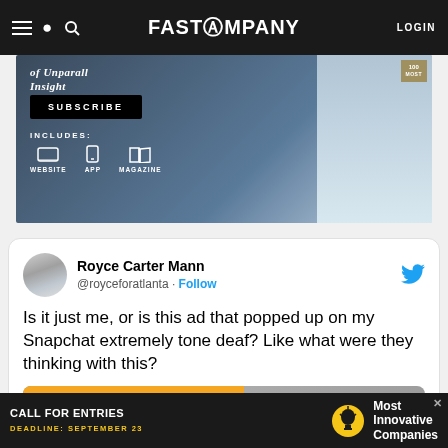FAST COMPANY | LOGIN
[Figure (screenshot): Fast Company subscription advertisement banner showing SUBSCRIBE button, INCLUDES: WEBSITE APP MAGAZINE with icons, and a person in a turtleneck sweater. 100 badge visible top right.]
[Figure (screenshot): Embedded tweet from Royce Carter Mann (@royceforatlanta) reading: Is it just me, or is this ad that popped up on my Snapchat extremely tone deaf? Like what were they thinking with this? Tweet includes a partial preview of another image below.]
[Figure (screenshot): Bottom advertisement: black background with CALL FOR ENTRIES text, DEADLINE: SEPTEMBER 23, light bulb icon, Most Innovative Companies text]